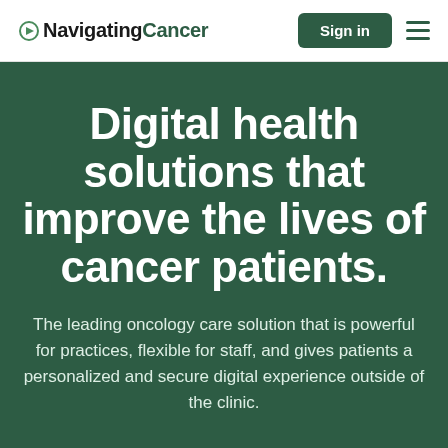NavigatingCancer — Sign in
Digital health solutions that improve the lives of cancer patients.
The leading oncology care solution that is powerful for practices, flexible for staff, and gives patients a personalized and secure digital experience outside of the clinic.